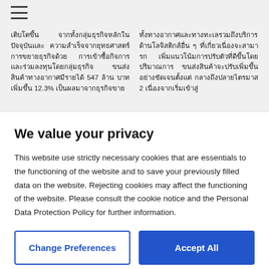เติบโตขึ้น จากทั้งกลุ่มธุรกิจหลักในปัจจุบันและความสำเร็จจากยุทธศาสตร์การขยายธุรกิจด้วยการเข้าซื้อกิจการและร่วมลงทุนโดยกลุ่มธุรกิจขนส่งสินค้าทางอากาศมีรายได้ 547 ล้านบาท เพิ่มขึ้น 12.3% เป็นผลมาจากธุรกิจขาย | ทั้งทางอากาศและทางทะเลรวมถึงบริการด้านโลจิสติกส์อื่น ๆ ที่เกี่ยวเนื่องจะสามารถเพิ่มแนวโน้มการปรับตัวที่ดีขึ้นโดยปริมาณการขนส่งสินค้าจะปรับเพิ่มขึ้นอย่างชัดเจนตั้งแต่กลางถึงปลายไตรมาส 2 เนื่องจากเริ่มเข้าสู่
We value your privacy
This website use strictly necessary cookies that are essentials to the functioning of the website and to save your previously filled data on the website. Rejecting cookies may affect the functioning of the website. Please consult the cookie notice and the Personal Data Protection Policy for further information.
Change Preferences
Accept All